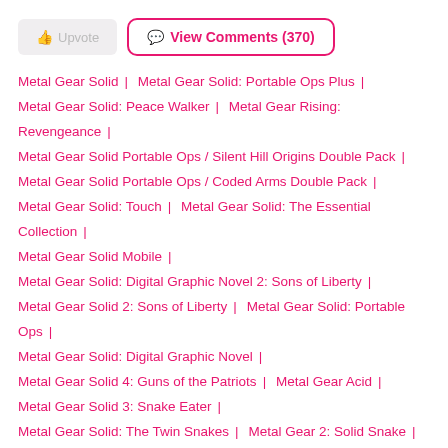Upvote | View Comments (370)
Metal Gear Solid | Metal Gear Solid: Portable Ops Plus |
Metal Gear Solid: Peace Walker | Metal Gear Rising: Revengeance |
Metal Gear Solid Portable Ops / Silent Hill Origins Double Pack |
Metal Gear Solid Portable Ops / Coded Arms Double Pack |
Metal Gear Solid: Touch | Metal Gear Solid: The Essential Collection |
Metal Gear Solid Mobile |
Metal Gear Solid: Digital Graphic Novel 2: Sons of Liberty |
Metal Gear Solid 2: Sons of Liberty | Metal Gear Solid: Portable Ops |
Metal Gear Solid: Digital Graphic Novel |
Metal Gear Solid 4: Guns of the Patriots | Metal Gear Acid |
Metal Gear Solid 3: Snake Eater |
Metal Gear Solid: The Twin Snakes | Metal Gear 2: Solid Snake |
Metal Gear Arcade